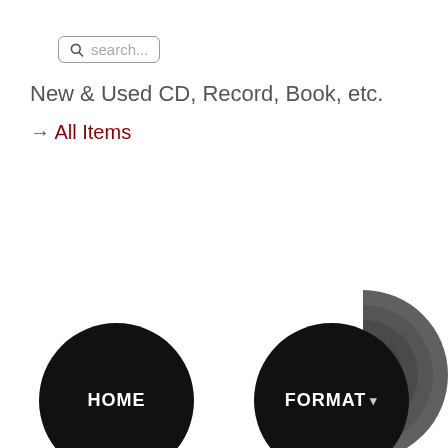[Figure (screenshot): Search box with magnifying glass icon and placeholder text 'search...']
New & Used CD, Record, Book, etc.
→ All Items
[Figure (photo): Partial view of a vinyl record cropped at the right edge]
[Figure (screenshot): Two circular black navigation buttons at the bottom: HOME and FORMAT with dropdown arrow]